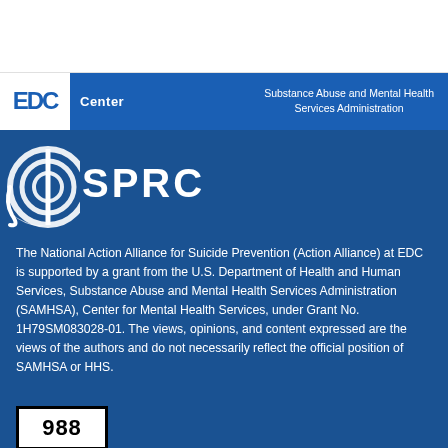[Figure (logo): Action Alliance logo with red star shape and text ACTION ALLIANCE in gray]
[Figure (logo): Hamburger/menu icon (three horizontal lines) in dark gray on white background]
[Figure (logo): EDC Center logo on blue background with SAMHSA text: Substance Abuse and Mental Health Services Administration]
[Figure (logo): SPRC logo with circular wave icon and SPRC text in white on dark blue background]
The National Action Alliance for Suicide Prevention (Action Alliance) at EDC is supported by a grant from the U.S. Department of Health and Human Services, Substance Abuse and Mental Health Services Administration (SAMHSA), Center for Mental Health Services, under Grant No. 1H79SM083028-01. The views, opinions, and content expressed are the views of the authors and do not necessarily reflect the official position of SAMHSA or HHS.
[Figure (logo): 988 crisis lifeline logo box with black border on white background]